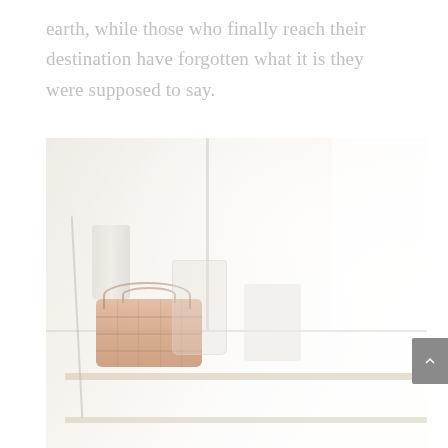earth, while those who finally reach their destination have forgotten what it is they were supposed to say.
[Figure (photo): A soft, washed-out photograph of a windowsill scene with a wicker basket, blue vase/book, white vase, glass jug, and other items arranged on a wooden shelf in front of a bright window. The image has a very light, airy aesthetic with overexposed window light.]